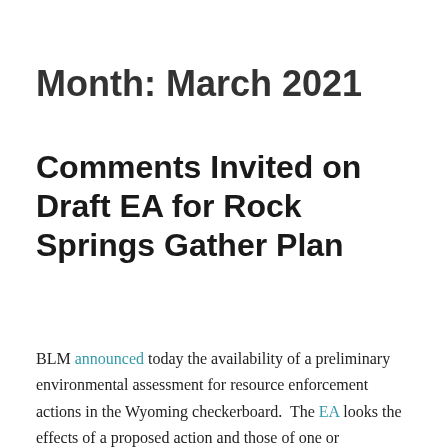Month: March 2021
Comments Invited on Draft EA for Rock Springs Gather Plan
BLM announced today the availability of a preliminary environmental assessment for resource enforcement actions in the Wyoming checkerboard.  The EA looks the effects of a proposed action and those of one or